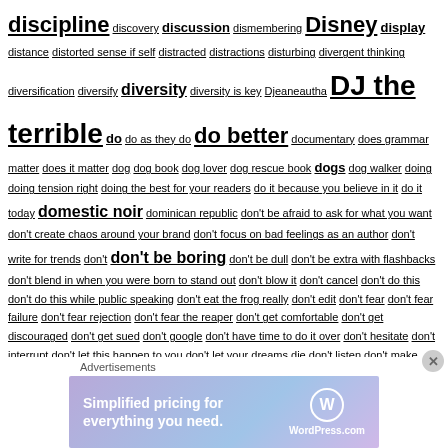discipline discovery discussion dismembering Disney display distance distorted sense if self distracted distractions disturbing divergent thinking diversification diversify diversity diversity is key Djeaneautha DJ the terrible do do as they do do better documentary does grammar matter does it matter dog dog book dog lover dog rescue book dogs dog walker doing doing tension right doing the best for your readers do it because you believe in it do it today domestic noir dominican republic don't be afraid to ask for what you want don't create chaos around your brand don't focus on bad feelings as an author don't write for trends don't don't be boring don't be dull don't be extra with flashbacks don't blend in when you were born to stand out don't blow it don't cancel don't do this don't do this while public speaking don't eat the frog really don't edit don't fear don't fear failure don't fear rejection don't fear the reaper don't get comfortable don't get discouraged don't get sued don't google don't have time to do it over don't hesitate don't interrupt don't let this happen to you don't let your dreams die don't listen don't make things easy don't make this mistake don't make this mistake when writing for kids don't miss your chance
[Figure (other): WordPress.com advertisement banner: 'Simplified pricing for everything you need.' with WordPress.com logo]
Advertisements